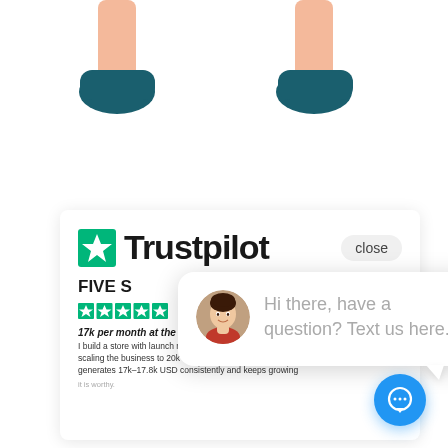[Figure (illustration): Cartoon illustration: lower legs and feet of a person wearing teal/dark teal shoes, shown on white background at the top of the page]
[Figure (screenshot): Screenshot of a Trustpilot review page showing the Trustpilot logo (green star + Trustpilot text), a close button, 'FIVE S' (Five Stars) heading, five green star rating, a review titled '17k per month at the moment', and review text about building a store and scaling the business to 20k USD per month generating 17k-17.8k USD consistently]
[Figure (screenshot): Chat popup overlay showing a circular avatar photo of a woman in a red top, with the text 'Hi there, have a question? Text us here.' in gray, with a speech bubble tail pointing down-right, and a blue circular chat button icon in the bottom right corner]